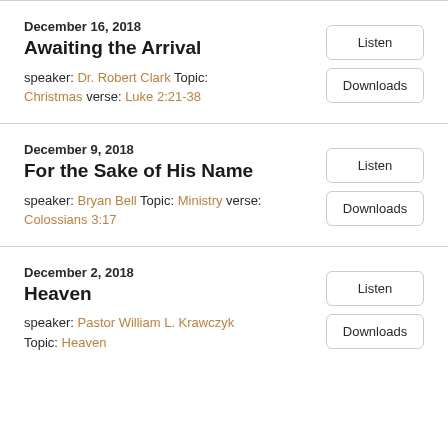December 16, 2018
Awaiting the Arrival
speaker: Dr. Robert Clark Topic: Christmas verse: Luke 2:21-38
December 9, 2018
For the Sake of His Name
speaker: Bryan Bell Topic: Ministry verse: Colossians 3:17
December 2, 2018
Heaven
speaker: Pastor William L. Krawczyk Topic: Heaven